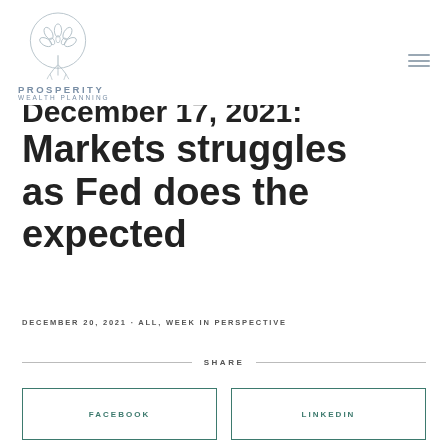[Figure (logo): Prosperity Wealth Planning logo — circular floral/leaf emblem above the text 'PROSPERITY WEALTH PLANNING']
December 17, 2021: Markets struggles as Fed does the expected
DECEMBER 20, 2021 · ALL, WEEK IN PERSPECTIVE
SHARE
FACEBOOK
LINKEDIN